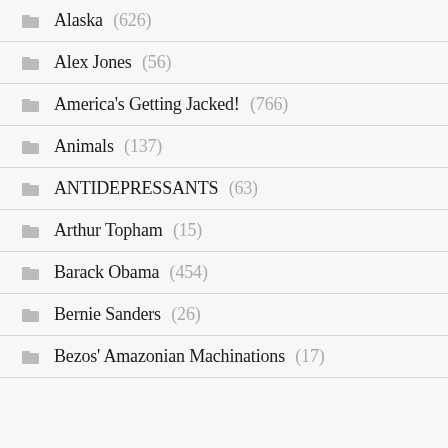Alaska (626)
Alex Jones (56)
America's Getting Jacked! (766)
Animals (137)
ANTIDEPRESSANTS (63)
Arthur Topham (15)
Barack Obama (454)
Bernie Sanders (26)
Bezos' Amazonian Machinations (17)